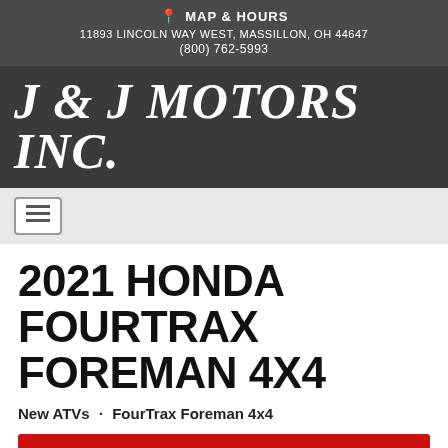MAP & HOURS
11893 LINCOLN WAY WEST, MASSILLON, OH 44647
(800) 762-5993
J & J MOTORS INC.
[Figure (other): Navigation hamburger menu button with three horizontal lines]
2021 HONDA FOURTRAX FOREMAN 4X4
New ATVs · FourTrax Foreman 4x4
CALL NOW
MSRP $7,399